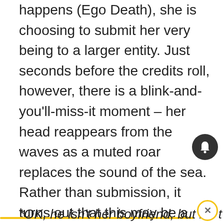happens (Ego Death), she is choosing to submit her very being to a larger entity. Just seconds before the credits roll, however, there is a blink-and-you'll-miss-it moment – her head reappears from the waves as a muted roar replaces the sound of the sea. Rather than submission, it turns out that this may be a baptism or rebirth – but has a monster risen from the waves?
*OK, he isn't her boyfriend, but it's t...